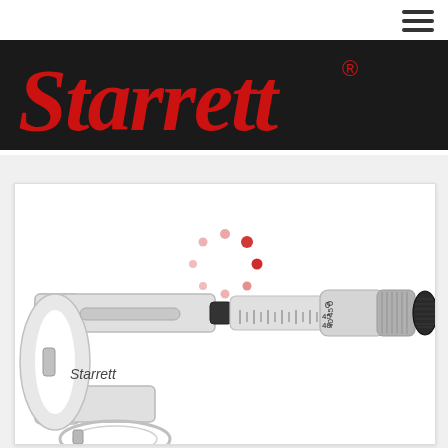[Figure (logo): Starrett red script logo on black banner background, with registered trademark symbol]
[Figure (photo): Starrett outside micrometer with C-shaped frame, thimble showing scale markings (0, 45, 40), knurled thimble and ratchet stop, Starrett text on frame, with ring stand at bottom. A red loading spinner (partial circle of dots) is visible in the upper portion of the product card.]